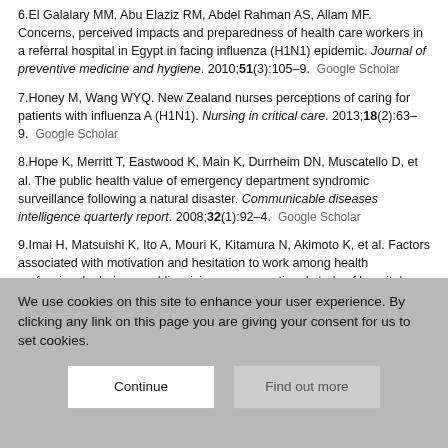6.El Galalary MM, Abu Elaziz RM, Abdel Rahman AS, Allam MF. Concerns, perceived impacts and preparedness of health care workers in a referral hospital in Egypt in facing influenza (H1N1) epidemic. Journal of preventive medicine and hygiene. 2010;51(3):105–9. Google Scholar
7.Honey M, Wang WYQ. New Zealand nurses perceptions of caring for patients with influenza A (H1N1). Nursing in critical care. 2013;18(2):63–9. Google Scholar
8.Hope K, Merritt T, Eastwood K, Main K, Durrheim DN, Muscatello D, et al. The public health value of emergency department syndromic surveillance following a natural disaster. Communicable diseases intelligence quarterly report. 2008;32(1):92–4. Google Scholar
9.Imai H, Matsuishi K, Ito A, Mouri K, Kitamura N, Akimoto K, et al. Factors associated with motivation and hesitation to work among health professionals during a public crisis: a cross sectional study of hospital workers in Japan during the pandemic (H1N1) 2009. BMC public health
We use cookies on this site to enhance your user experience. By clicking any link on this page you are giving your consent for us to set cookies.